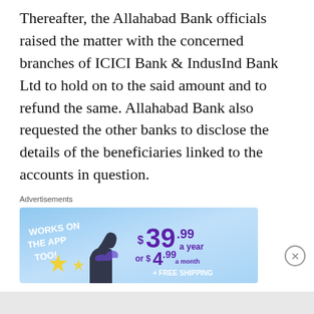Thereafter, the Allahabad Bank officials raised the matter with the concerned branches of ICICI Bank & IndusInd Bank Ltd to hold on to the said amount and to refund the same. Allahabad Bank also requested the other banks to disclose the details of the beneficiaries linked to the accounts in question.
Advertisements
[Figure (infographic): Advertisement banner: 'WORKS ON THE APP TOO!' on left in white bold text on blue background. Right side shows pricing: $39.99 a year or $4.99 a month + FREE SHIPPING in purple text.]
Advertisements